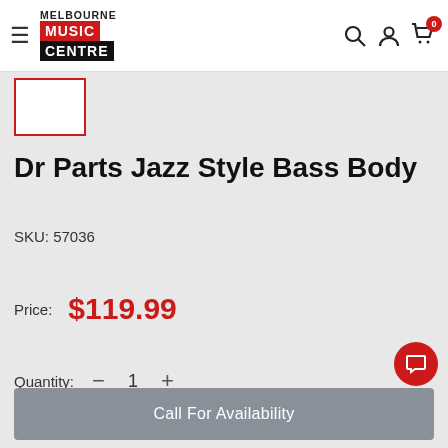Melbourne Music Centre — navigation header with logo, search, account, and cart icons
[Figure (other): Product image placeholder — red-bordered white rectangle]
Dr Parts Jazz Style Bass Body
SKU: 57036
Price: $119.99
Quantity: 1
Call For Availability